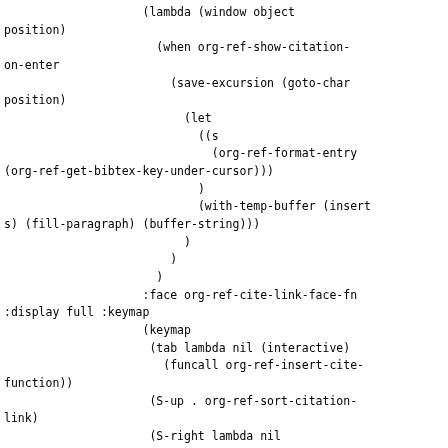(lambda (window object position)
                    (when org-ref-show-citation-on-enter
                      (save-excursion (goto-char position)
                        (let
                          ((s
                            (org-ref-format-entry (org-ref-get-bibtex-key-under-cursor)))
                          )
                          (with-temp-buffer (insert s) (fill-paragraph) (buffer-string)))
                        )
                      )
                    )
                    :face org-ref-cite-link-face-fn
:display full :keymap
                    (keymap
                     (tab lambda nil (interactive)
                       (funcall org-ref-insert-cite-function))
                     (S-up . org-ref-sort-citation-link)
                     (S-right lambda nil (interactive) (org-ref-swap-citation-link 1))
                     (S-left lambda nil (interactive) (org-ref-swap-citation-link -1))
                     (C-right . org-ref-next-key)
(C-left . org-ref-previous-key)